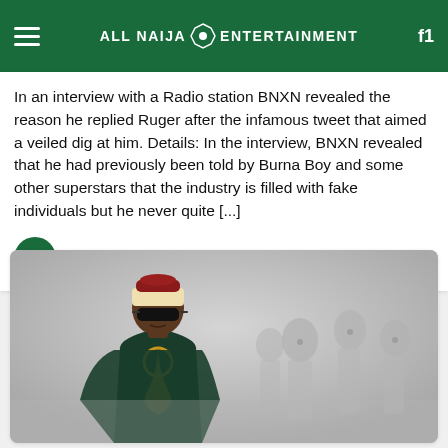ALL NAIJA ENTERTAINMENT
In an interview with a Radio station BNXN revealed the reason he replied Ruger after the infamous tweet that aimed a veiled dig at him. Details: In the interview, BNXN revealed that he had previously been told by Burna Boy and some other superstars that the industry is filled with fake individuals but he never quite [...]
All Naija Entertainment
10 min
[Figure (photo): A man wearing sunglasses, a traditional cap with red and cream colors, and a dark teal/green outfit with gold embroidery, standing in front of a blurred background with multiple figures in white.]